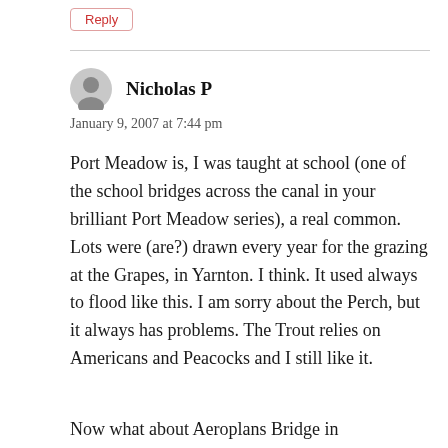Reply
Nicholas P
January 9, 2007 at 7:44 pm
Port Meadow is, I was taught at school (one of the school bridges across the canal in your brilliant Port Meadow series), a real common. Lots were (are?) drawn every year for the grazing at the Grapes, in Yarnton. I think. It used always to flood like this. I am sorry about the Perch, but it always has problems. The Trout relies on Americans and Peacocks and I still like it.
Now what about Aeroplans Bridge in